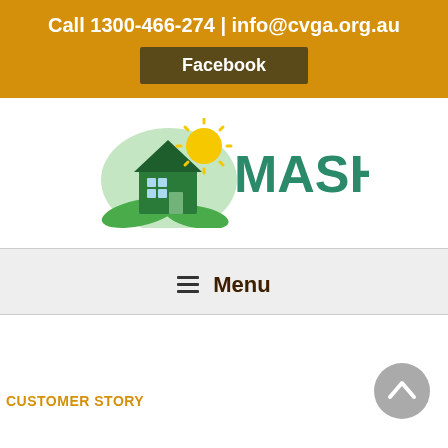Call 1300-466-274 | info@cvga.org.au
Facebook
[Figure (logo): MASH logo: green house with yellow sun and green leaves, with the text MASH in teal/green]
≡  Menu
CUSTOMER STORY